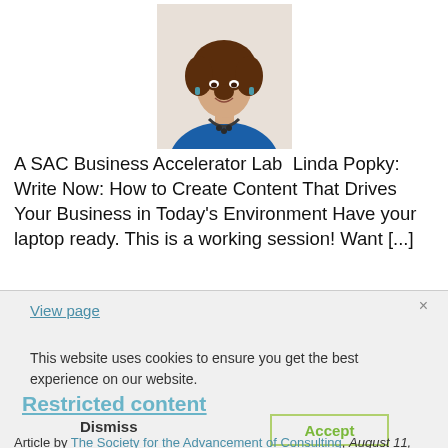[Figure (photo): Headshot of a woman with curly brown hair wearing a blue blazer and dark beaded necklace, smiling at the camera against a white background.]
A SAC Business Accelerator Lab  Linda Popky: Write Now: How to Create Content That Drives Your Business in Today's Environment Have your laptop ready. This is a working session! Want [...]
View page
×
This website uses cookies to ensure you get the best experience on our website.
Restricted content
Dismiss
Accept
Article by The Society for the Advancement of Consulting, August 11, 2020